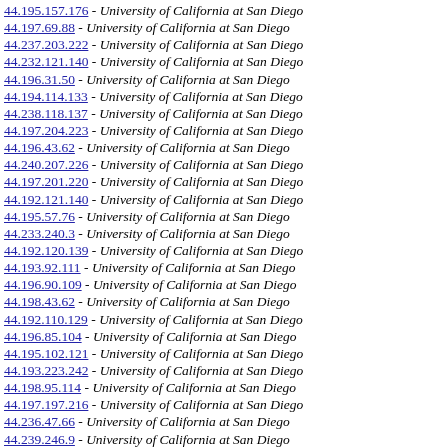44.195.157.176 - University of California at San Diego
44.197.69.88 - University of California at San Diego
44.237.203.222 - University of California at San Diego
44.232.121.140 - University of California at San Diego
44.196.31.50 - University of California at San Diego
44.194.114.133 - University of California at San Diego
44.238.118.137 - University of California at San Diego
44.197.204.223 - University of California at San Diego
44.196.43.62 - University of California at San Diego
44.240.207.226 - University of California at San Diego
44.197.201.220 - University of California at San Diego
44.192.121.140 - University of California at San Diego
44.195.57.76 - University of California at San Diego
44.233.240.3 - University of California at San Diego
44.192.120.139 - University of California at San Diego
44.193.92.111 - University of California at San Diego
44.196.90.109 - University of California at San Diego
44.198.43.62 - University of California at San Diego
44.192.110.129 - University of California at San Diego
44.196.85.104 - University of California at San Diego
44.195.102.121 - University of California at San Diego
44.193.223.242 - University of California at San Diego
44.198.95.114 - University of California at San Diego
44.197.197.216 - University of California at San Diego
44.236.47.66 - University of California at San Diego
44.239.246.9 - University of California at San Diego
44.199.57.76 - University of California at San Diego
44.198.78.97 - University of California at San Diego
44.199.70.89 - University of California at San Diego
44.226.213.232 - University of California at San Diego